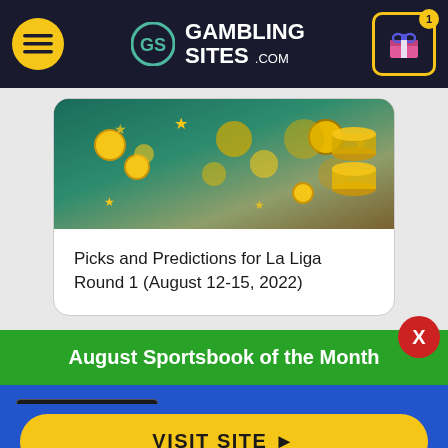GamblingSites.com
[Figure (photo): Partial card showing coins and money image for La Liga prediction article]
Picks and Predictions for La Liga Round 1 (August 12-15, 2022)
August Sportsbook of the Month
[Figure (logo): BetOnline.ag logo on black background]
Welcome Bonus
50% up to $1,000
VISIT SITE ▶